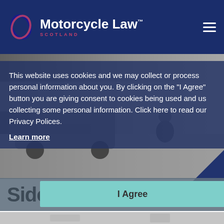[Figure (logo): Motorcycle Law Scotland logo with circular oval icon in red and blue, white bold text 'Motorcycle Law' with TM superscript, red text 'SCOTLAND' below]
[Figure (photo): Greyscale photograph of a car and motorcycle rider on a road, partially obscured by cookie consent overlay]
This website uses cookies and we may collect or process personal information about you. By clicking on the "I Agree" button you are giving consent to cookies being used and us collecting some personal information. Click here to read our Privacy Polices.
Learn more
Side Menu+
I Agree
[Figure (photo): Partial greyscale photo at the bottom of the page]